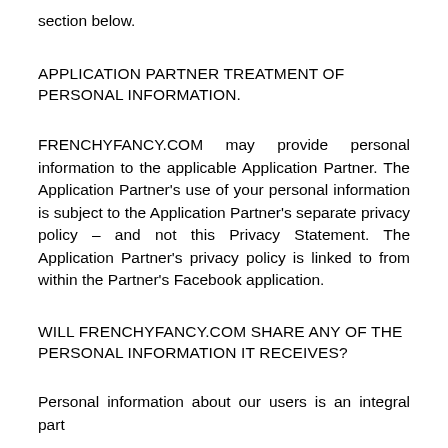section below.
APPLICATION PARTNER TREATMENT OF PERSONAL INFORMATION.
FRENCHYFANCY.COM may provide personal information to the applicable Application Partner. The Application Partner's use of your personal information is subject to the Application Partner's separate privacy policy – and not this Privacy Statement. The Application Partner's privacy policy is linked to from within the Partner's Facebook application.
WILL FRENCHYFANCY.COM SHARE ANY OF THE PERSONAL INFORMATION IT RECEIVES?
Personal information about our users is an integral part